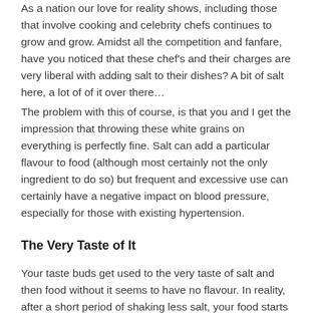As a nation our love for reality shows, including those that involve cooking and celebrity chefs continues to grow and grow. Amidst all the competition and fanfare, have you noticed that these chef's and their charges are very liberal with adding salt to their dishes? A bit of salt here, a lot of of it over there…
The problem with this of course, is that you and I get the impression that throwing these white grains on everything is perfectly fine. Salt can add a particular flavour to food (although most certainly not the only ingredient to do so) but frequent and excessive use can certainly have a negative impact on blood pressure, especially for those with existing hypertension.
The Very Taste of It
Your taste buds get used to the very taste of salt and then food without it seems to have no flavour. In reality, after a short period of shaking less salt, your food starts to taste how it should and and flavours that were once part of the culinary...